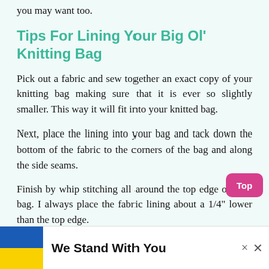you may want too.
Tips For Lining Your Big Ol' Knitting Bag
Pick out a fabric and sew together an exact copy of your knitting bag making sure that it is ever so slightly smaller.  This way it will fit into your knitted bag.
Next, place the lining into your bag and tack down the bottom of the fabric to the corners of the bag and along the side seams.
Finish by whip stitching all around the top edge of your bag. I always place the fabric lining about a 1/4" lower than the top edge.
[Figure (infographic): We Stand With You banner ad with Ukrainian flag colors (blue and yellow), close buttons, and partial bottom text.]